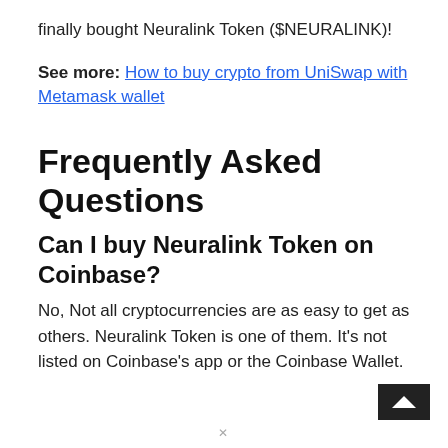finally bought Neuralink Token ($NEURALINK)!
See more: How to buy crypto from UniSwap with Metamask wallet
Frequently Asked Questions
Can I buy Neuralink Token on Coinbase?
No, Not all cryptocurrencies are as easy to get as others. Neuralink Token is one of them. It's not listed on Coinbase's app or the Coinbase Wallet.